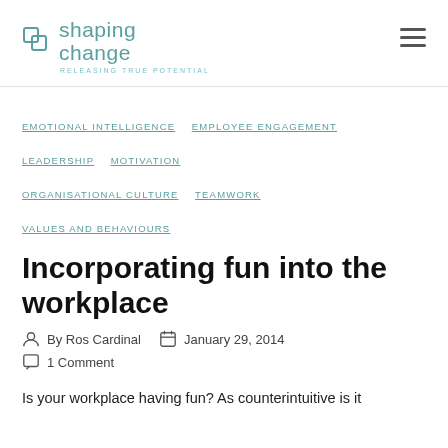shaping change — RELEASING TRUE POTENTIAL
EMOTIONAL INTELLIGENCE
EMPLOYEE ENGAGEMENT
LEADERSHIP
MOTIVATION
ORGANISATIONAL CULTURE
TEAMWORK
VALUES AND BEHAVIOURS
Incorporating fun into the workplace
By Ros Cardinal   January 29, 2014
1 Comment
Is your workplace having fun? As counterintuitive is it